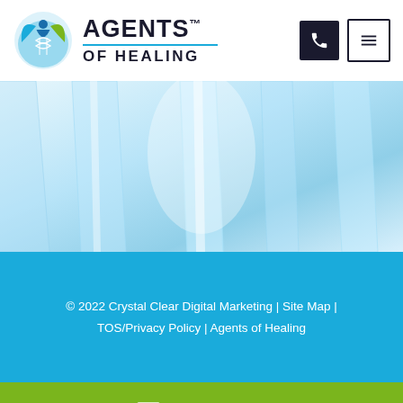[Figure (logo): Agents of Healing logo with DNA helix and human figure icon in blue and green, with brand name text]
[Figure (photo): Close-up photo of clear glass laboratory test tubes/vials with light blue tones]
© 2022 Crystal Clear Digital Marketing | Site Map | TOS/Privacy Policy | Agents of Healing
Contact Us